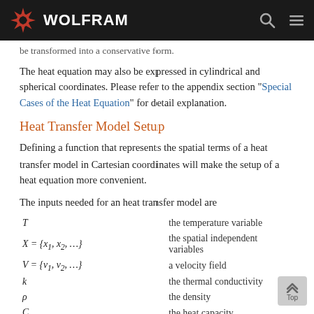WOLFRAM
be transformed into a conservative form.
The heat equation may also be expressed in cylindrical and spherical coordinates. Please refer to the appendix section "Special Cases of the Heat Equation" for detail explanation.
Heat Transfer Model Setup
Defining a function that represents the spatial terms of a heat transfer model in Cartesian coordinates will make the setup of a heat equation more convenient.
The inputs needed for an heat transfer model are
| Symbol | Description |
| --- | --- |
| T | the temperature variable |
| X = {x₁, x₂, …} | the spatial independent variables |
| V = {v₁, v₂, …} | a velocity field |
| k | the thermal conductivity |
| ρ | the density |
| Cₚ | the heat capacity |
| Q | a heat source/sink |